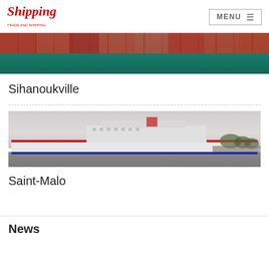Shipping | MENU
[Figure (photo): Aerial view of a container ship with red containers on teal/green water]
Sihanoukville
[Figure (photo): A large ferry/cruise ship on grey water under an overcast sky]
Saint-Malo
News